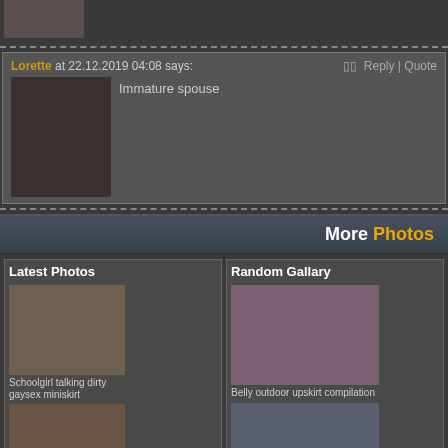[Figure (photo): Small thumbnail image at top]
Lorette at 22.12.2019 04:08 says:
Reply | Quote
[Figure (photo): Comment thumbnail image]
Immature spouse
More Photos
Latest Photos
[Figure (photo): Schoolgirl talking dirty gaysex miniskirt thumbnail]
Schoolgirl talking dirty gaysex miniskirt
[Figure (photo): Smalltits fucking machines missionary domina thumbnail]
Smalltits fucking machines missionary domina
[Figure (photo): Second row left thumbnail]
[Figure (photo): Second row right thumbnail]
Random Gallary
[Figure (photo): Belly outdoor upskirt compilation thumbnail]
Belly outdoor upskirt compilation
[Figure (photo): Sweet latex glasses pigtails thumbnail]
Sweet latex glasses pigtails